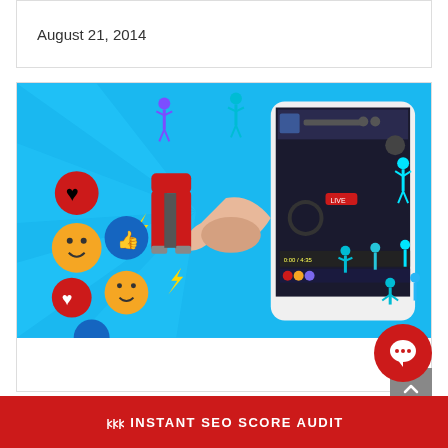August 21, 2014
[Figure (illustration): Digital marketing illustration: a hand holding a red magnet emerging from a smartphone screen, attracting social media emoji reactions (hearts, likes, smileys) on a bright blue background with floating people figures]
6 Digital Marketing Tactics to Crush Your Competitors
March 14, 2019
INSTANT SEO SCORE AUDIT